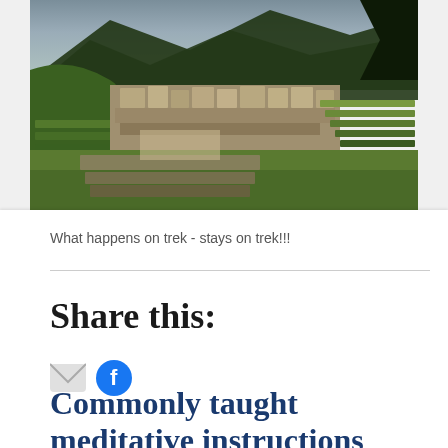[Figure (photo): Aerial/elevated view of Machu Picchu ancient Inca ruins with terraced stone structures, green hillsides, and mountain backdrop]
What happens on trek - stays on trek!!!
Share this:
[Figure (illustration): Email icon (grey envelope) and Facebook icon (blue circle with f logo) social sharing buttons]
Commonly taught meditative instructions that...